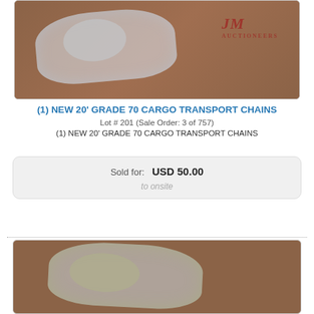[Figure (photo): Photo of cargo transport chains in a clear plastic bag, resting against a metal lattice fence background, with auction company logo watermark visible.]
(1) NEW 20' GRADE 70 CARGO TRANSPORT CHAINS
Lot # 201 (Sale Order: 3 of 757)
(1) NEW 20' GRADE 70 CARGO TRANSPORT CHAINS
Sold for: USD 50.00
to onsite
[Figure (photo): Second photo of cargo transport chains in a clear plastic bag against a metal lattice fence background.]